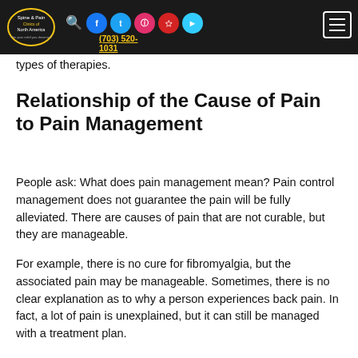Spine & Pain Clinics of North America — (703) 520-1031
In most cases, the pain treatment plan includes a mix of therapies, like cognitive-behavioral therapy or physical therapy and medications. It may be the treatment plan includes all four types of therapies.
Relationship of the Cause of Pain to Pain Management
People ask: What does pain management mean? Pain control management does not guarantee the pain will be fully alleviated. There are causes of pain that are not curable, but they are manageable.
For example, there is no cure for fibromyalgia, but the associated pain may be manageable. Sometimes, there is no clear explanation as to why a person experiences back pain. In fact, a lot of pain is unexplained, but it can still be managed with a treatment plan.